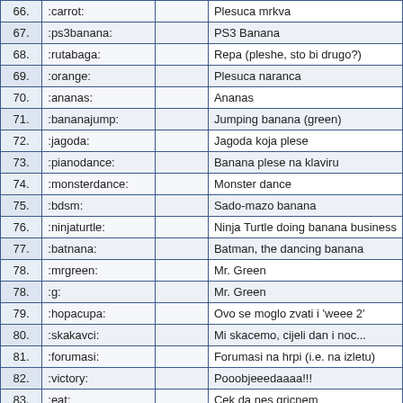| # | Code | Image | Description |
| --- | --- | --- | --- |
| 66. | :carrot: |  | Plesuca mrkva |
| 67. | :ps3banana: |  | PS3 Banana |
| 68. | :rutabaga: |  | Repa (pleshe, sto bi drugo?) |
| 69. | :orange: |  | Plesuca naranca |
| 70. | :ananas: |  | Ananas |
| 71. | :bananajump: |  | Jumping banana (green) |
| 72. | :jagoda: |  | Jagoda koja plese |
| 73. | :pianodance: |  | Banana plese na klaviru |
| 74. | :monsterdance: |  | Monster dance |
| 75. | :bdsm: |  | Sado-mazo banana |
| 76. | :ninjaturtle: |  | Ninja Turtle doing banana business |
| 77. | :batnana: |  | Batman, the dancing banana |
| 78. | :mrgreen: |  | Mr. Green |
| 78. | :g: |  | Mr. Green |
| 79. | :hopacupa: |  | Ovo se moglo zvati i 'weee 2' |
| 80. | :skakavci: |  | Mi skacemo, cijeli dan i noc... |
| 81. | :forumasi: |  | Forumasi na hrpi (i.e. na izletu) |
| 82. | :victory: |  | Pooobjeeedaaaa!!! |
| 83. | :eat: |  | Cek da nes gricnem |
| 84. | :dorucak: |  | Dorucak... |
| 85. | :google: |  | Google rulez! |
| 86. | :tansh: |  | Tansh, tansh |